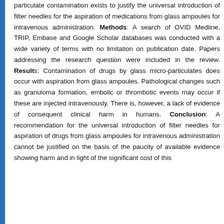particulate contamination exists to justify the universal introduction of filter needles for the aspiration of medications from glass ampoules for intravenous administration. Methods: A search of OVID Medline, TRIP, Embase and Google Scholar databases was conducted with a wide variety of terms with no limitation on publication date. Papers addressing the research question were included in the review. Results: Contamination of drugs by glass micro-particulates does occur with aspiration from glass ampoules. Pathological changes such as granuloma formation, embolic or thrombotic events may occur if these are injected intravenously. There is, however, a lack of evidence of consequent clinical harm in humans. Conclusion: A recommendation for the universal introduction of filter needles for aspiration of drugs from glass ampoules for intravenous administration cannot be justified on the basis of the paucity of available evidence showing harm and in light of the significant cost of this